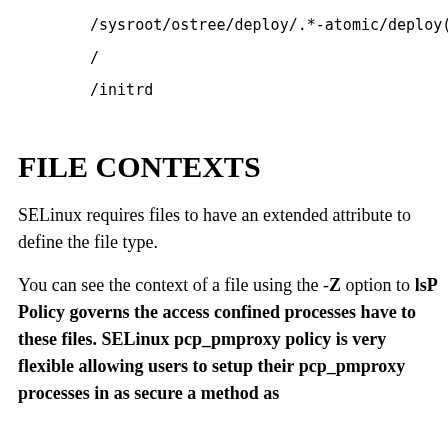/sysroot/ostree/deploy/.*-atomic/deploy(/.*)?
/
/initrd
FILE CONTEXTS
SELinux requires files to have an extended attribute to define the file type.
You can see the context of a file using the -Z option to lsP Policy governs the access confined processes have to these files. SELinux pcp_pmproxy policy is very flexible allowing users to setup their pcp_pmproxy processes in as secure a method as